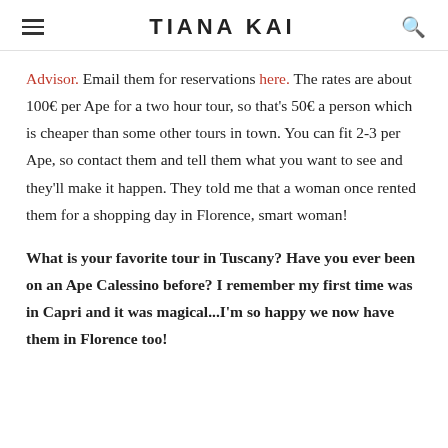TIANA KAI
Advisor. Email them for reservations here. The rates are about 100€ per Ape for a two hour tour, so that's 50€ a person which is cheaper than some other tours in town. You can fit 2-3 per Ape, so contact them and tell them what you want to see and they'll make it happen. They told me that a woman once rented them for a shopping day in Florence, smart woman!
What is your favorite tour in Tuscany? Have you ever been on an Ape Calessino before? I remember my first time was in Capri and it was magical...I'm so happy we now have them in Florence too!